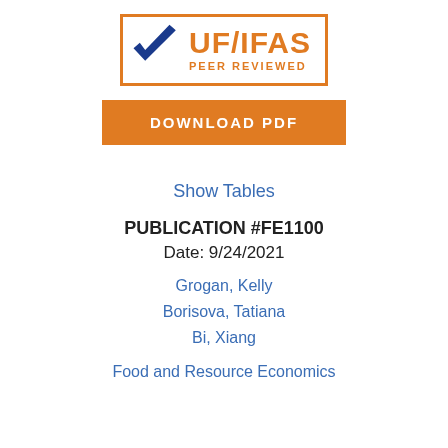[Figure (logo): UF/IFAS Peer Reviewed logo with blue checkmark and orange border]
DOWNLOAD PDF
Show Tables
PUBLICATION #FE1100
Date: 9/24/2021
Grogan, Kelly
Borisova, Tatiana
Bi, Xiang
Food and Resource Economics